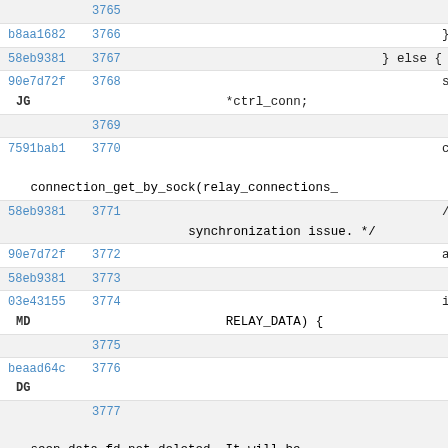3765 / g
b8aa1682 3766  }
58eb9381 3767  } else {
90e7d72f 3768  struct re
JG       *ctrl_conn;
3769
7591bab1 3770  ctrl_conn
         connection_get_by_sock(relay_connections_
58eb9381 3771  /* If not
         synchronization issue. */
90e7d72f 3772  assert(ct
58eb9381 3773
03e43155 3774  if (ctrl_
MD       RELAY_DATA) {
3775  i
beaad64c 3776
DG
3777
         seen_data_fd_not_deleted. It will be